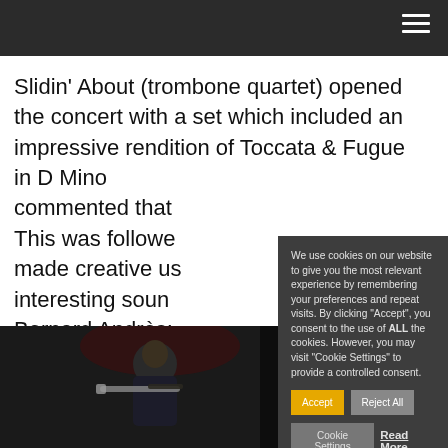Navigation bar with hamburger menu
Slidin’ About (trombone quartet) opened the concert with a set which included an impressive rendition of Toccata & Fugue in D Mino[r...] commented that [...] This was followe[d...] made creative us[e...] interesting soun[d...] Bernard Andrès: [...]
[Figure (photo): Musician playing trombone on a dark stage]
We use cookies on our website to give you the most relevant experience by remembering your preferences and repeat visits. By clicking “Accept”, you consent to the use of ALL the cookies. However, you may visit "Cookie Settings" to provide a controlled consent.
Accept | Reject All | Cookie Settings | Read More